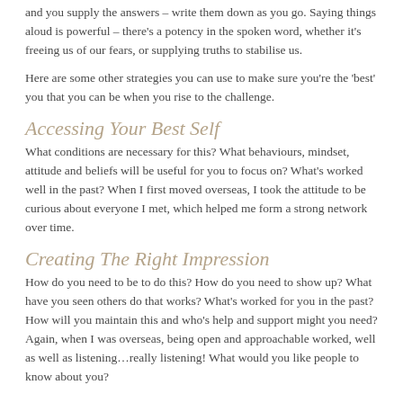and you supply the answers – write them down as you go. Saying things aloud is powerful – there's a potency in the spoken word, whether it's freeing us of our fears, or supplying truths to stabilise us.
Here are some other strategies you can use to make sure you're the 'best' you that you can be when you rise to the challenge.
Accessing Your Best Self
What conditions are necessary for this? What behaviours, mindset, attitude and beliefs will be useful for you to focus on? What's worked well in the past? When I first moved overseas, I took the attitude to be curious about everyone I met, which helped me form a strong network over time.
Creating The Right Impression
How do you need to be to do this? How do you need to show up? What have you seen others do that works? What's worked for you in the past? How will you maintain this and who's help and support might you need? Again, when I was overseas, being open and approachable worked, well as well as listening…really listening! What would you like people to know about you?